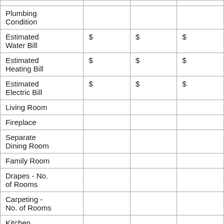| Plumbing Condition |  |  |  |
| Estimated Water Bill | $ | $ | $ |
| Estimated Heating Bill | $ | $ | $ |
| Estimated Electric Bill | $ | $ | $ |
| Living Room |  |  |  |
| Fireplace |  |  |  |
| Separate Dining Room |  |  |  |
| Family Room |  |  |  |
| Drapes - No. of Rooms |  |  |  |
| Carpeting - No. of Rooms |  |  |  |
| Kitchen Eating Area |  |  |  |